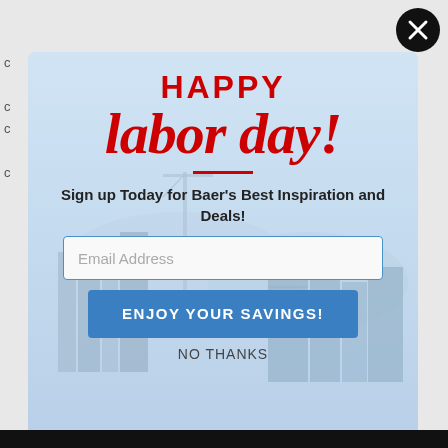[Figure (screenshot): Modal popup with city skyline background showing Happy Labor Day promotion with email signup form]
HAPPY
labor day!
Sign up Today for Baer's Best Inspiration and Deals!
Email Address
ENJOY YOUR SAVINGS!
NO THANKS